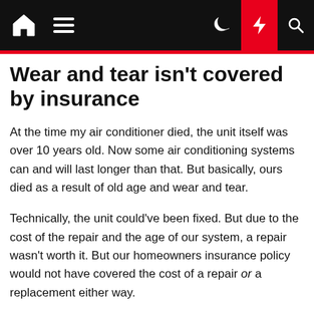Navigation bar with home, menu, moon, lightning, and search icons
Wear and tear isn't covered by insurance
At the time my air conditioner died, the unit itself was over 10 years old. Now some air conditioning systems can and will last longer than that. But basically, ours died as a result of old age and wear and tear.
Technically, the unit could've been fixed. But due to the cost of the repair and the age of our system, a repair wasn't worth it. But our homeowners insurance policy would not have covered the cost of a repair or a replacement either way.
When you have homeowners insurance, you're covered in the event of property damage. Had